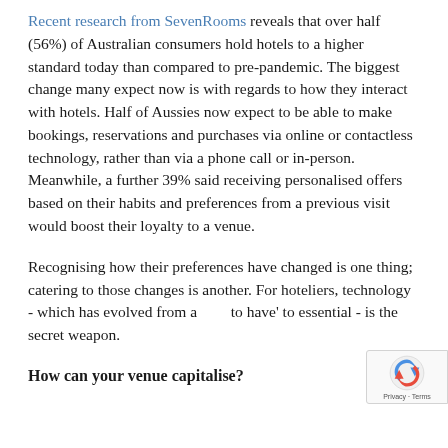Recent research from SevenRooms reveals that over half (56%) of Australian consumers hold hotels to a higher standard today than compared to pre-pandemic. The biggest change many expect now is with regards to how they interact with hotels. Half of Aussies now expect to be able to make bookings, reservations and purchases via online or contactless technology, rather than via a phone call or in-person. Meanwhile, a further 39% said receiving personalised offers based on their habits and preferences from a previous visit would boost their loyalty to a venue.
Recognising how their preferences have changed is one thing; catering to those changes is another. For hoteliers, technology - which has evolved from a 'nice to have' to essential - is the secret weapon.
How can your venue capitalise?